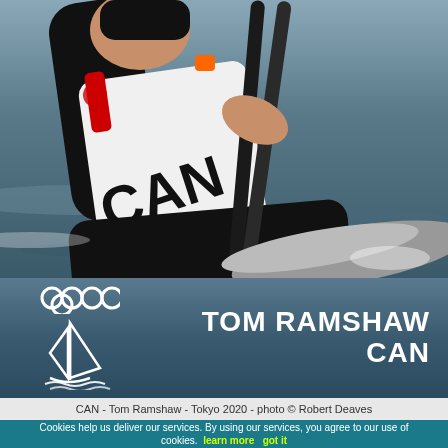[Figure (photo): Close-up photo of a sailor (Tom Ramshaw) wearing a white and black CAN vest, gripping ropes on a sailboat, water in background]
TOM RAMSHAW CAN
CAN - Tom Ramshaw - Tokyo 2020 - photo © Robert Deaves
Cookies help us deliver our services. By using our services, you agree to our use of cookies. learn more   got it